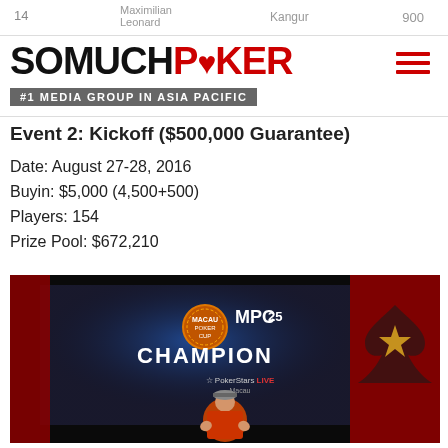14  Maximilian Leonard  Kangur  900
[Figure (logo): SoMuchPoker logo with tagline #1 MEDIA GROUP IN ASIA PACIFIC and hamburger menu icon]
Event 2: Kickoff ($500,000 Guarantee)
Date: August 27-28, 2016
Buyin: $5,000 (4,500+500)
Players: 154
Prize Pool: $672,210
[Figure (photo): MPC25 Champion celebration photo: man in orange shirt giving thumbs up in front of a screen displaying MPC25 CHAMPION with PokerStars LIVE Macau branding and a large red spade symbol on the right]